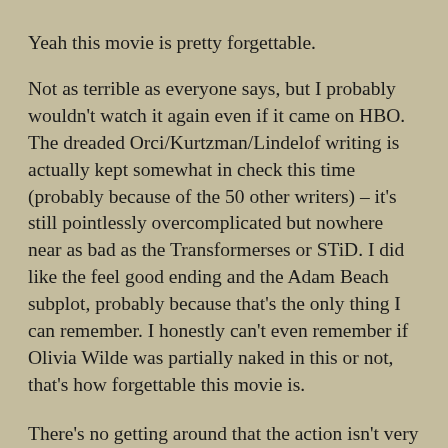Yeah this movie is pretty forgettable. Not as terrible as everyone says, but I probably wouldn't watch it again even if it came on HBO. The dreaded Orci/Kurtzman/Lindelof writing is actually kept somewhat in check this time (probably because of the 50 other writers) – it's still pointlessly overcomplicated but nowhere near as bad as the Transformerses or STiD. I did like the feel good ending and the Adam Beach subplot, probably because that's the only thing I can remember. I honestly can't even remember if Olivia Wilde was partially naked in this or not, that's how forgettable this movie is.
There's no getting around that the action isn't very good and the climax is literally aliens running in a